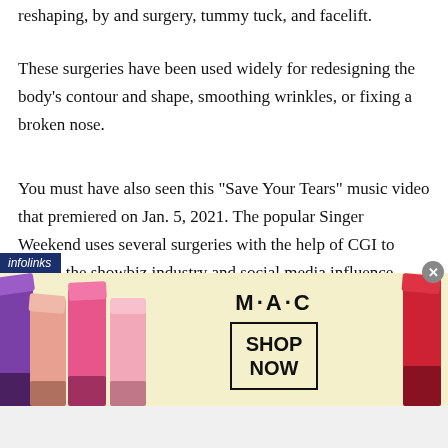reshaping, by and surgery, tummy tuck, and facelift.
These surgeries have been used widely for redesigning the body’s contour and shape, smoothing wrinkles, or fixing a broken nose.
You must have also seen this “Save Your Tears” music video that premiered on Jan. 5, 2021. The popular Singer Weekend uses several surgeries with the help of CGI to reflect the showbiz industry and social media influence today.
[Figure (other): MAC Cosmetics advertisement showing lipsticks on both sides, MAC logo in the center, and a 'SHOP NOW' button. Infolinks label at top-left corner and close (x) button at top-right.]